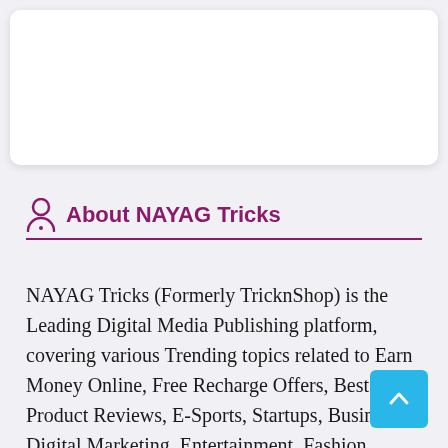[Figure (other): White advertisement/banner box with rounded corners on light gray background]
About NAYAG Tricks
NAYAG Tricks (Formerly TricknShop) is the Leading Digital Media Publishing platform, covering various Trending topics related to Earn Money Online, Free Recharge Offers, Best Product Reviews, E-Sports, Startups, Businesses, Digital Marketing, Entertainment, Fashion, Relationship, Sports, Food, Lifestyle, Education, Job and Career, Travel, Gaming,